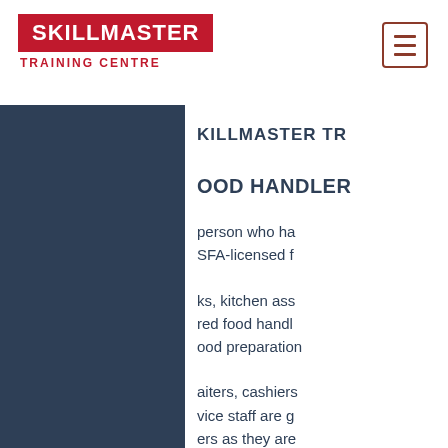SKILLMASTER TRAINING CENTRE
SKILLMASTER TR
OOD HANDLER
person who ha SFA-licensed f
ks, kitchen ass red food handl ood preparation
aiters, cashiers vice staff are g ers as they are